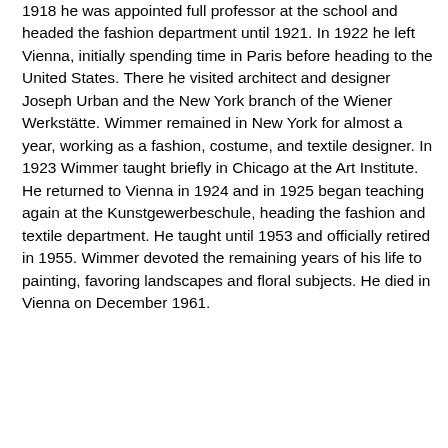1918 he was appointed full professor at the school and headed the fashion department until 1921. In 1922 he left Vienna, initially spending time in Paris before heading to the United States. There he visited architect and designer Joseph Urban and the New York branch of the Wiener Werkstätte. Wimmer remained in New York for almost a year, working as a fashion, costume, and textile designer. In 1923 Wimmer taught briefly in Chicago at the Art Institute. He returned to Vienna in 1924 and in 1925 began teaching again at the Kunstgewerbeschule, heading the fashion and textile department. He taught until 1953 and officially retired in 1955. Wimmer devoted the remaining years of his life to painting, favoring landscapes and floral subjects. He died in Vienna on December 1961.